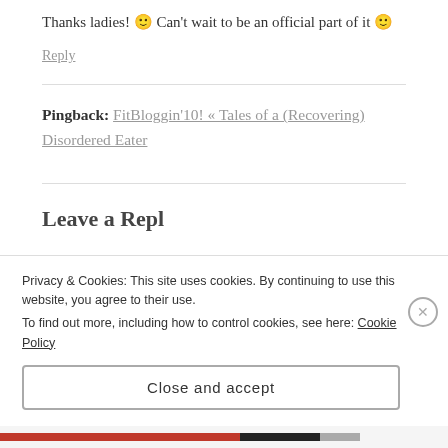Thanks ladies! 🙂 Can't wait to be an official part of it 🙂
Reply
Pingback: FitBloggin'10! « Tales of a (Recovering) Disordered Eater
Leave a Reply
Privacy & Cookies: This site uses cookies. By continuing to use this website, you agree to their use. To find out more, including how to control cookies, see here: Cookie Policy
Close and accept